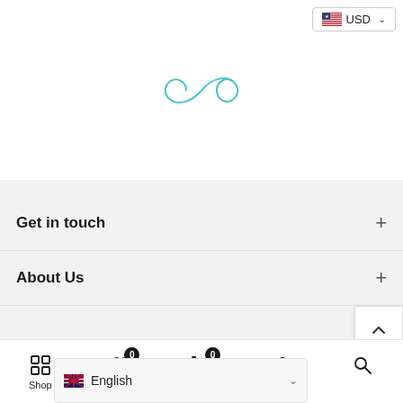[Figure (logo): Infinity symbol logo in teal/cyan outline stroke]
USD (currency selector button with US flag)
Get in touch
About Us
Coll...
Shop | Wishlist 0 | Cart 0 | (Account) | (Search) | English